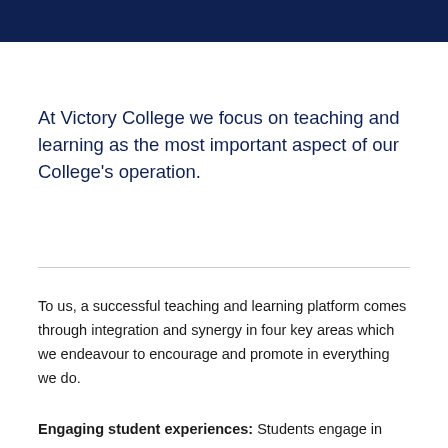At Victory College we focus on teaching and learning as the most important aspect of our College's operation.
To us, a successful teaching and learning platform comes through integration and synergy in four key areas which we endeavour to encourage and promote in everything we do.
Engaging student experiences: Students engage in